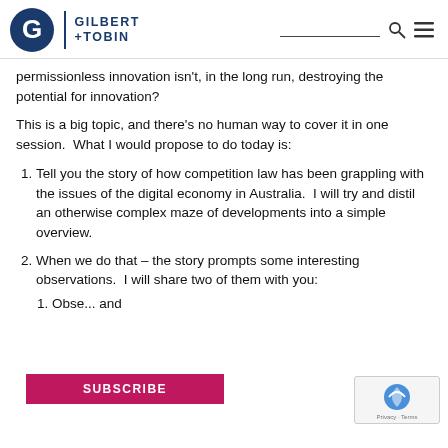Gilbert + Tobin
permissionless innovation isn't, in the long run, destroying the potential for innovation?
This is a big topic, and there's no human way to cover it in one session.  What I would propose to do today is:
Tell you the story of how competition law has been grappling with the issues of the digital economy in Australia.  I will try and distil an otherwise complex maze of developments into a simple overview.
When we do that – the story prompts some interesting observations.  I will share two of them with you:
Obse... and